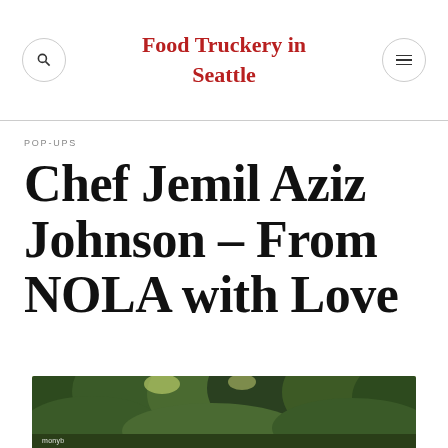Food Truckery in Seattle
POP-UPS
Chef Jemil Aziz Johnson – From NOLA with Love
[Figure (photo): Outdoor scene with green trees and foliage, with a watermark reading 'monyb']